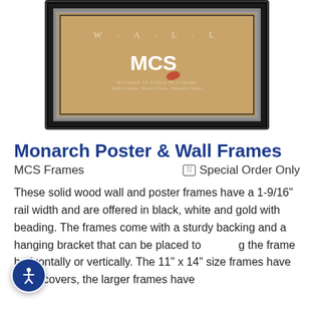[Figure (photo): Product photo of a black wood Monarch Poster & Wall Frame by MCS with tan/brown background showing the MCS logo and WALL text]
Monarch Poster & Wall Frames
MCS Frames   Special Order Only
These solid wood wall and poster frames have a 1-9/16" rail width and are offered in black, white and gold with beading. The frames come with a sturdy backing and a hanging bracket that can be placed to hang the frame horizontally or vertically. The 11" x 14" size frames have glass covers, the larger frames have